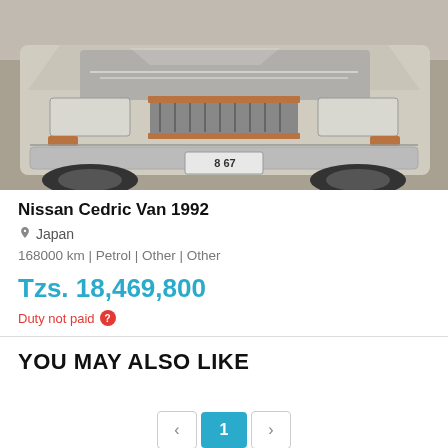[Figure (photo): Front view of a silver/beige Nissan Cedric Van 1992 car with license plate showing 8 67, photographed in a parking area]
Nissan Cedric Van 1992
Japan
168000 km | Petrol | Other | Other
Tzs. 18,469,800
Duty not paid
YOU MAY ALSO LIKE